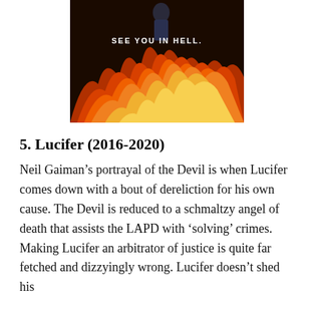[Figure (photo): A dark promotional image showing flames at the bottom with a figure above them. Text overlay reads 'SEE YOU IN HELL.' in white capital letters.]
5. Lucifer (2016-2020)
Neil Gaiman's portrayal of the Devil is when Lucifer comes down with a bout of dereliction for his own cause. The Devil is reduced to a schmaltzy angel of death that assists the LAPD with 'solving' crimes. Making Lucifer an arbitrator of justice is quite far fetched and dizzyingly wrong. Lucifer doesn't shed his